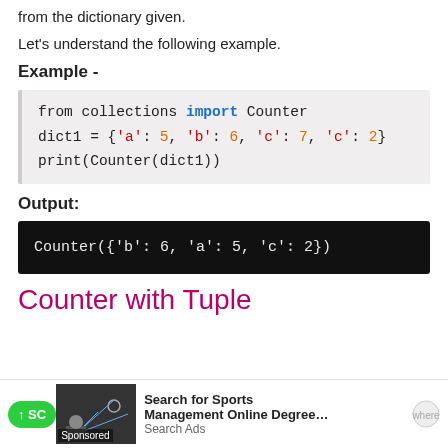from the dictionary given.
Let's understand the following example.
Example -
[Figure (screenshot): Python code block: from collections import Counter
dict1 = {'a': 5, 'b': 6, 'c': 7, 'c': 2}
print(Counter(dict1))]
Output:
[Figure (screenshot): Terminal output: Counter({'b': 6, 'a': 5, 'c': 2})]
Counter with Tuple
[Figure (other): Advertisement bar: Search for Sports Management Online Degree - Search Ads]